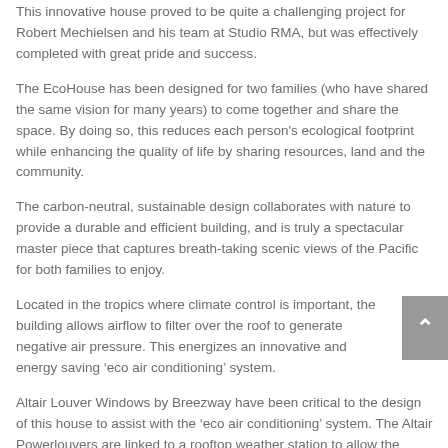This innovative house proved to be quite a challenging project for Robert Mechielsen and his team at Studio RMA, but was effectively completed with great pride and success.
The EcoHouse has been designed for two families (who have shared the same vision for many years) to come together and share the space. By doing so, this reduces each person's ecological footprint while enhancing the quality of life by sharing resources, land and the community.
The carbon-neutral, sustainable design collaborates with nature to provide a durable and efficient building, and is truly a spectacular master piece that captures breath-taking scenic views of the Pacific for both families to enjoy.
Located in the tropics where climate control is important, the building allows airflow to filter over the roof to generate negative air pressure. This energizes an innovative and energy saving ‘eco air conditioning’ system.
Altair Louver Windows by Breezway have been critical to the design of this house to assist with the ‘eco air conditioning’ system. The Altair Powerlouvers are linked to a rooftop weather station to allow the louvers to automatically open on cool nights to let in night time breezes. This cools the